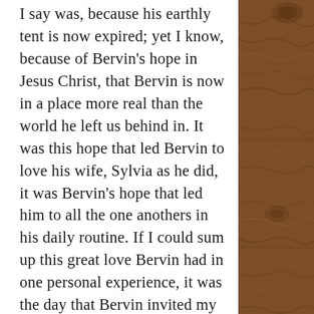I say was, because his earthly tent is now expired; yet I know, because of Bervin's hope in Jesus Christ, that Bervin is now in a place more real than the world he left us behind in. It was this hope that led Bervin to love his wife, Sylvia as he did, it was Bervin's hope that led him to all the one anothers in his daily routine. If I could sum up this great love Bervin had in one personal experience, it was the day that Bervin invited my family and I to dine with him, his sister-in-law Marian, and his niece Teresa, her daughter Connie, and Connie's kids. Bervin sat at the table in Miner's Diner and the contentment on his face stated that, in these moments, surrounded by friends and family, loving one another